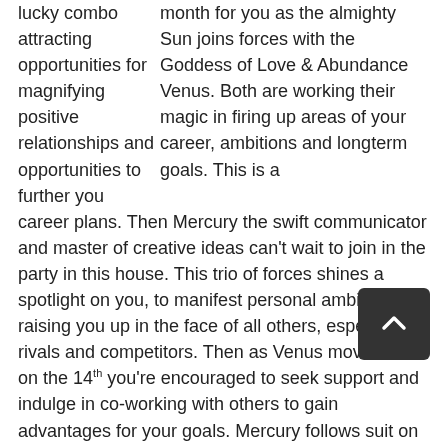month for you as the almighty Sun joins forces with the Goddess of Love & Abundance Venus. Both are working their magic in firing up areas of your career, ambitions and longterm goals. This is a lucky combo attracting opportunities for magnifying positive relationships and opportunities to further you career plans. Then Mercury the swift communicator and master of creative ideas can't wait to join in the party in this house. This trio of forces shines a spotlight on you, to manifest personal ambitions, raising you up in the face of all others, especially rivals and competitors. Then as Venus moves out on the 14th you're encouraged to seek support and indulge in co-working with others to gain advantages for your goals. Mercury follows suit on the 18th and then the Sun on the 19th. Three or more planets in a sign or a house creates an astrological phenomenon called a 'Stellium.' And so here we have, the Sun, Mercury, Venus and Uranus all in this one sector creating the Stelium that's powering up your house of friendships, group efforts and joint-associations. With Venus involved you may feel a desire to willingly reach for these areas. If you're already chasing goals, a Stellium can be a gift and in your case, it favour you favour for friendships, to be sought after or you may simply shine out. Communication is accentuated through Mercury's presence here, so you